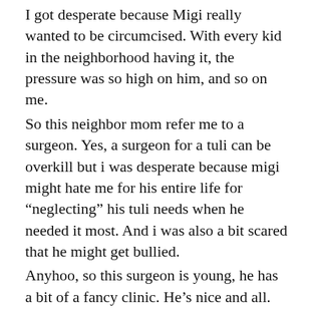I got desperate because Migi really wanted to be circumcised. With every kid in the neighborhood having it, the pressure was so high on him, and so on me. So this neighbor mom refer me to a surgeon. Yes, a surgeon for a tuli can be overkill but i was desperate because migi might hate me for his entire life for “neglecting” his tuli needs when he needed it most. And i was also a bit scared that he might get bullied. Anyhoo, so this surgeon is young, he has a bit of a fancy clinic. He’s nice and all. The operation went well. Migi did not cry. My only take-away is that I felt Migi was overly bandaged, which we could not removed for 3 days, meaning Migi cannot take a bath for 3 days.